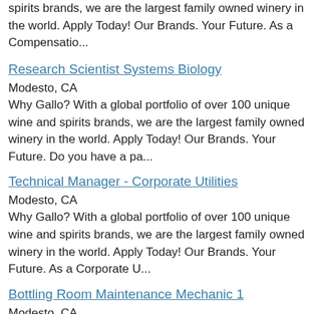spirits brands, we are the largest family owned winery in the world. Apply Today! Our Brands. Your Future. As a Compensatio...
Research Scientist Systems Biology
Modesto, CA
Why Gallo? With a global portfolio of over 100 unique wine and spirits brands, we are the largest family owned winery in the world. Apply Today! Our Brands. Your Future. Do you have a pa...
Technical Manager - Corporate Utilities
Modesto, CA
Why Gallo? With a global portfolio of over 100 unique wine and spirits brands, we are the largest family owned winery in the world. Apply Today! Our Brands. Your Future. As a Corporate U...
Bottling Room Maintenance Mechanic 1
Modesto, CA
Are you motivated by evaluating and diagnosing mechanical problems? Do you enjoy working on a wide variety of equipment